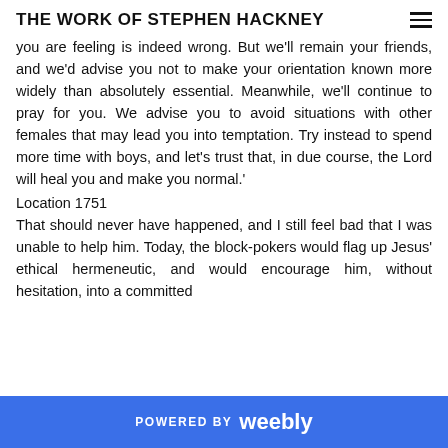THE WORK OF STEPHEN HACKNEY
you are feeling is indeed wrong. But we'll remain your friends, and we'd advise you not to make your orientation known more widely than absolutely essential. Meanwhile, we'll continue to pray for you. We advise you to avoid situations with other females that may lead you into temptation. Try instead to spend more time with boys, and let's trust that, in due course, the Lord will heal you and make you normal.'
Location 1751
That should never have happened, and I still feel bad that I was unable to help him. Today, the block-pokers would flag up Jesus' ethical hermeneutic, and would encourage him, without hesitation, into a committed
POWERED BY weebly